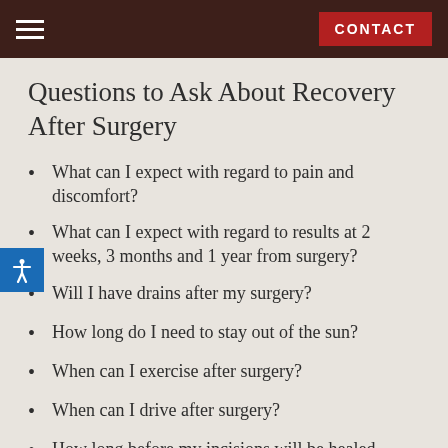CONTACT
Questions to Ask About Recovery After Surgery
What can I expect with regard to pain and discomfort?
What can I expect with regard to results at 2 weeks, 3 months and 1 year from surgery?
Will I have drains after my surgery?
How long do I need to stay out of the sun?
When can I exercise after surgery?
When can I drive after surgery?
How long before my incisions will be healed enough that people won't see or ask questions about them?